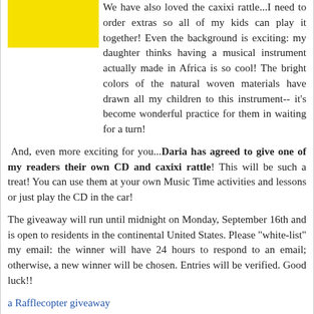[Figure (photo): A small image with a yellow background showing what appears to be a colorful item, partially visible at top left.]
We have also loved the caxixi rattle...I need to order extras so all of my kids can play it together!  Even the background is exciting:  my daughter thinks having a musical instrument actually made in Africa is so cool!  The bright colors of the natural woven materials have drawn all my children to this instrument-- it's become wonderful practice for them in waiting for a turn!
And, even more exciting for you...Daria has agreed to give one of my readers their own CD and caxixi rattle!  This will be such a treat! You can use them at your own Music Time activities and lessons or just play the CD in the car!
The giveaway will run until midnight on Monday, September 16th and is open to residents in the continental United States.  Please "white-list" my email: the winner will have 24 hours to respond to an email; otherwise, a new winner will be chosen.  Entries will be verified.  Good luck!!
a Rafflecopter giveaway